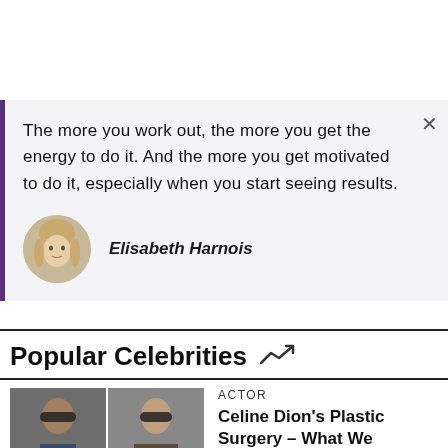The more you work out, the more you get the energy to do it. And the more you get motivated to do it, especially when you start seeing results.
Elisabeth Harnois
Popular Celebrities
ACTOR
Celine Dion's Plastic Surgery – What We